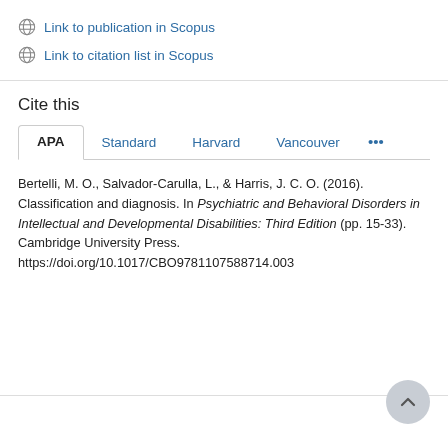Link to publication in Scopus
Link to citation list in Scopus
Cite this
APA | Standard | Harvard | Vancouver | ...
Bertelli, M. O., Salvador-Carulla, L., & Harris, J. C. O. (2016). Classification and diagnosis. In Psychiatric and Behavioral Disorders in Intellectual and Developmental Disabilities: Third Edition (pp. 15-33). Cambridge University Press. https://doi.org/10.1017/CBO9781107588714.003